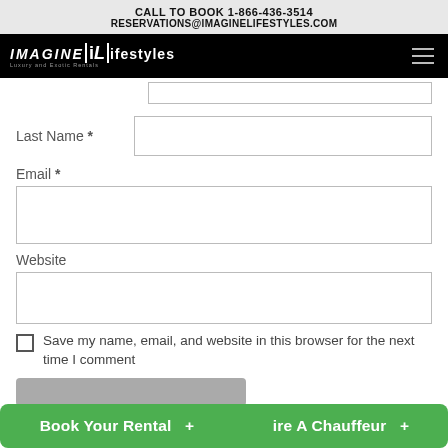CALL TO BOOK 1-866-436-3514
RESERVATIONS@IMAGINELIFESTYLES.COM
[Figure (logo): Imagine Lifestyles logo on black navigation bar with hamburger menu icon]
Last Name *
Email *
Website
Save my name, email, and website in this browser for the next time I comment
Book Your Rental +   ire A Chauffeur +